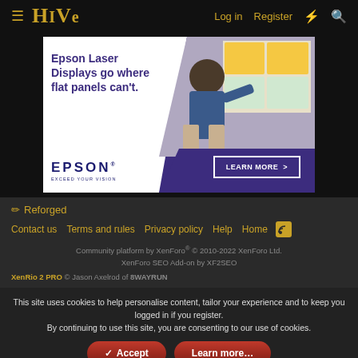HIVE | Log in | Register
[Figure (photo): Epson Laser Displays advertisement banner. Text reads: Epson Laser Displays go where flat panels can't. EPSON EXCEED YOUR VISION. LEARN MORE >. Background shows a classroom scene with a person pointing at a display.]
✏ Reforged
Contact us
Terms and rules
Privacy policy
Help
Home
Community platform by XenForo® © 2010-2022 XenForo Ltd.
XenForo SEO Add-on by XF2SEO
XenRio 2 PRO © Jason Axelrod of 8WAYRUN
This site uses cookies to help personalise content, tailor your experience and to keep you logged in if you register. By continuing to use this site, you are consenting to our use of cookies.